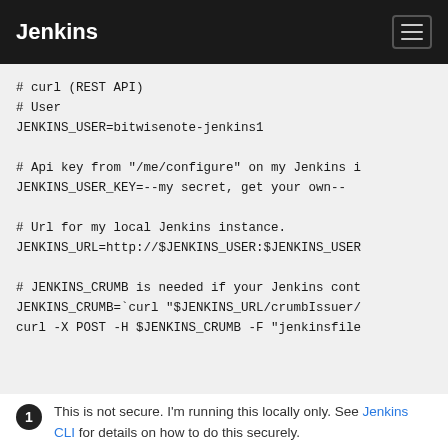Jenkins
# curl (REST API)
# User
JENKINS_USER=bitwisenote-jenkins1

# Api key from "/me/configure" on my Jenkins i
JENKINS_USER_KEY=--my secret, get your own--

# Url for my local Jenkins instance.
JENKINS_URL=http://$JENKINS_USER:$JENKINS_USER

# JENKINS_CRUMB is needed if your Jenkins cont
JENKINS_CRUMB=`curl "$JENKINS_URL/crumbIssuer/
curl -X POST -H $JENKINS_CRUMB -F "jenkinsfile
1 This is not secure. I'm running this locally only. See Jenkins CLI for details on how to do this securely.